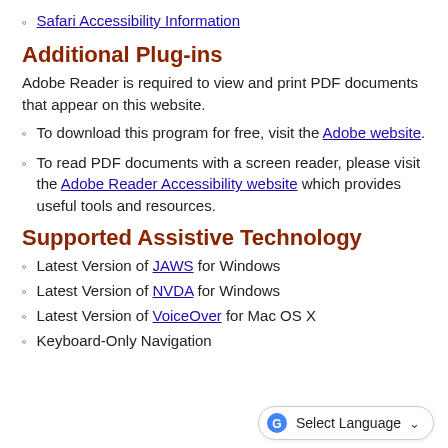Safari Accessibility Information
Additional Plug-ins
Adobe Reader is required to view and print PDF documents that appear on this website.
To download this program for free, visit the Adobe website.
To read PDF documents with a screen reader, please visit the Adobe Reader Accessibility website which provides useful tools and resources.
Supported Assistive Technology
Latest Version of JAWS for Windows
Latest Version of NVDA for Windows
Latest Version of VoiceOver for Mac OS X
Keyboard-Only Navigation